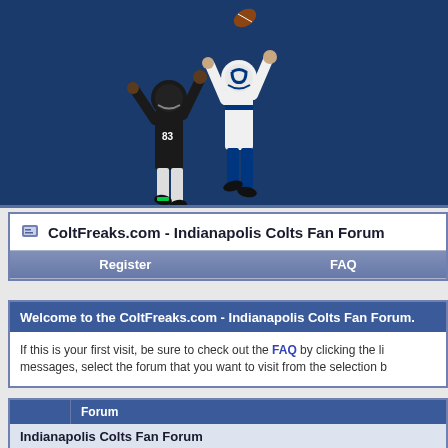[Figure (photo): Two NFL football players jumping - one in black jersey #83 and one in white/blue Indianapolis Colts uniform - against a dark blue background]
ColtFreaks.com - Indianapolis Colts Fan Forum
Register | FAQ
Welcome to the ColtFreaks.com - Indianapolis Colts Fan Forum.
If this is your first visit, be sure to check out the FAQ by clicking the li messages, select the forum that you want to visit from the selection b
| Forum |
| --- |
| Indianapolis Colts Fan Forum |